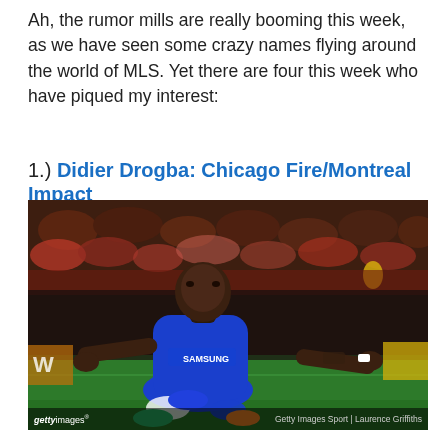Ah, the rumor mills are really booming this week, as we have seen some crazy names flying around the world of MLS. Yet there are four this week who have piqued my interest:
1.) Didier Drogba: Chicago Fire/Montreal Impact
[Figure (photo): Didier Drogba in a blue Chelsea FC Samsung jersey, celebrating a goal on his knees on the pitch with arms outstretched, crowd visible in background.]
Getty Images Sport | Laurence Griffiths